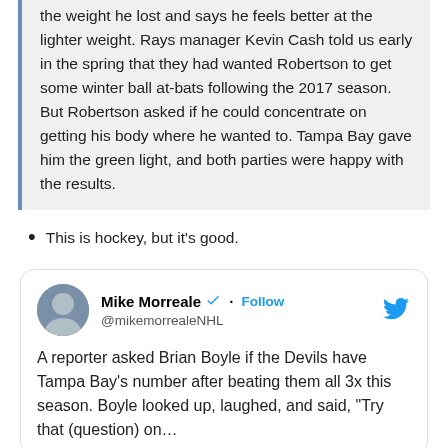the weight he lost and says he feels better at the lighter weight. Rays manager Kevin Cash told us early in the spring that they had wanted Robertson to get some winter ball at-bats following the 2017 season. But Robertson asked if he could concentrate on getting his body where he wanted to. Tampa Bay gave him the green light, and both parties were happy with the results.
This is hockey, but it's good.
[Figure (screenshot): Tweet from Mike Morreale (@mikemorrealeNHL) with a Follow button and Twitter bird logo. Tweet text: 'A reporter asked Brian Boyle if the Devils have Tampa Bay's number after beating them all 3x this season. Boyle looked up, laughed, and said, "Try that (question) on...']